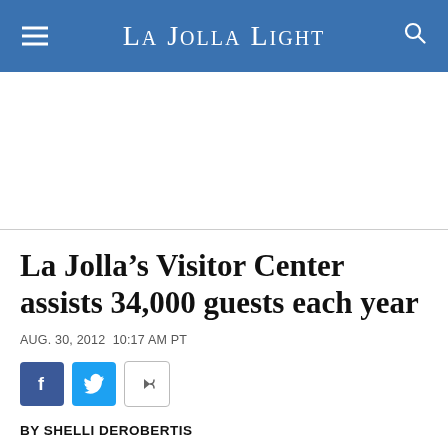La Jolla Light
La Jolla’s Visitor Center assists 34,000 guests each year
AUG. 30, 2012  10:17 AM PT
[Figure (other): Social share buttons: Facebook, Twitter, and a share/forward button]
BY SHELLI DEROBERTIS